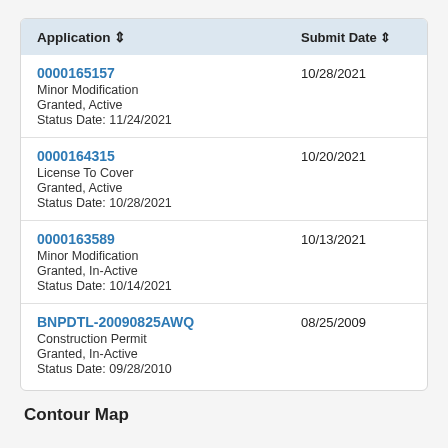| Application | Submit Date |
| --- | --- |
| 0000165157
Minor Modification
Granted, Active
Status Date: 11/24/2021 | 10/28/2021 |
| 0000164315
License To Cover
Granted, Active
Status Date: 10/28/2021 | 10/20/2021 |
| 0000163589
Minor Modification
Granted, In-Active
Status Date: 10/14/2021 | 10/13/2021 |
| BNPDTL-20090825AWQ
Construction Permit
Granted, In-Active
Status Date: 09/28/2010 | 08/25/2009 |
Contour Map